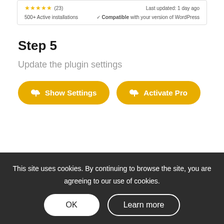[Figure (screenshot): Plugin card snippet showing star ratings, 500+ Active installations, last updated date, and Compatible with your version of WordPress]
Step 5
Update the plugin settings
[Figure (screenshot): Two yellow pill-shaped buttons: Show Settings and Activate Pro, each with a cloud upload icon]
This site uses cookies. By continuing to browse the site, you are agreeing to our use of cookies.
[Figure (screenshot): Cookie consent dialog with OK button (white) and Learn more button (dark outlined)]